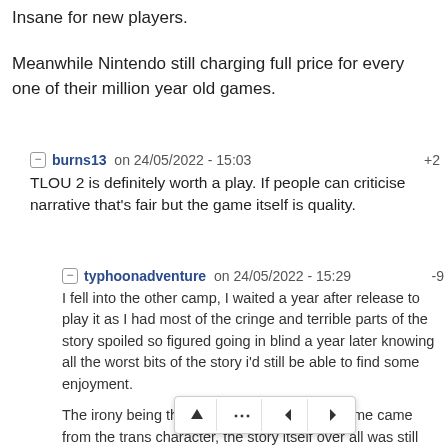Insane for new players.
Meanwhile Nintendo still charging full price for every one of their million year old games.
burns13 on 24/05/2022 - 15:03  +2
TLOU 2 is definitely worth a play. If people can criticise narrative that's fair but the game itself is quality.
typhoonadventure on 24/05/2022 - 15:29  -9
I fell into the other camp, I waited a year after release to play it as I had most of the cringe and terrible parts of the story spoiled so figured going in blind a year later knowing all the worst bits of the story i'd still be able to find some enjoyment.

The irony being the best story in the entire game came from the trans character, the story itself over all was still terrible from a storytelling point of view, but the gameplay thats what grinded my ... trophy hunter that likes to go into areas and parts of the game and explore them